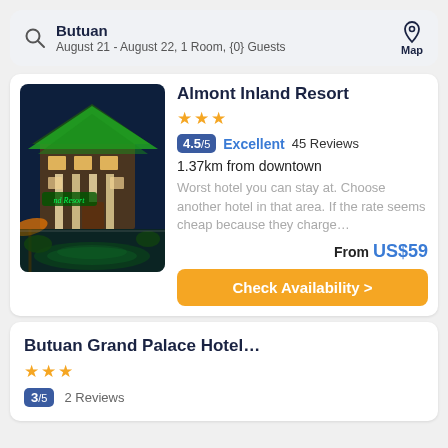Butuan — August 21 - August 22, 1 Room, {0} Guests | Map
Almont Inland Resort — 3 stars — Rating: 4.5/5 Excellent 45 Reviews — 1.37km from downtown — Worst hotel you can stay at. Choose another hotel in that area. If the rate seems cheap because they charge… — From US$59 — Check Availability
Butuan Grand Palace Hotel... — 3 stars — 3/5 2 Reviews